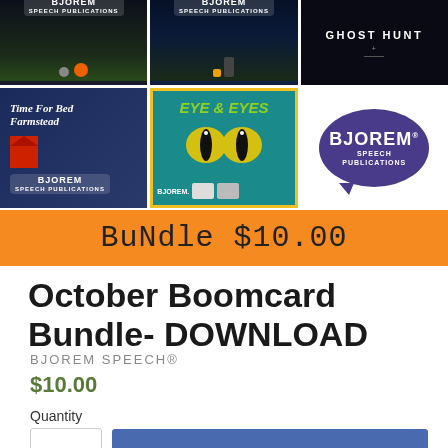[Figure (illustration): Product image collage showing multiple Bjorem Speech Publications products including Ghost Hunt, Time For Bed Farmstead, Eye & Eyes, and Bjorem Speech logo, with an orange banner showing 'Bundle $10.00']
October Boomcard Bundle- DOWNLOAD
BJOREM SPEECH®
$10.00
Quantity